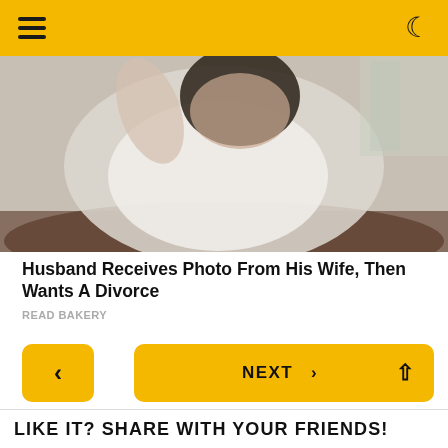≡  ☾
[Figure (photo): A woman in a white long-sleeve top seated on a dark leather sofa, posing with one arm raised behind her head.]
Husband Receives Photo From His Wife, Then Wants A Divorce
READ BAKERY
< NEXT >
LIKE IT? SHARE WITH YOUR FRIENDS!